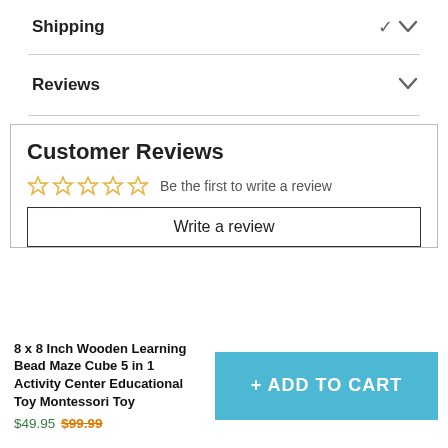Shipping
Reviews
Customer Reviews
Be the first to write a review
Write a review
8 x 8 Inch Wooden Learning Bead Maze Cube 5 in 1 Activity Center Educational Toy Montessori Toy
$49.95 $99.99
+ ADD TO CART